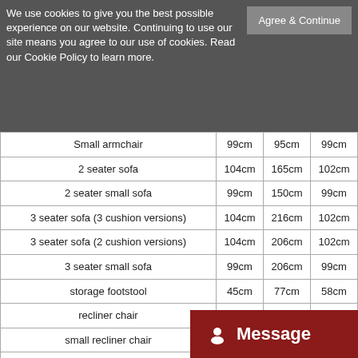We use cookies to give you the best possible experience on our website. Continuing to use our site means you agree to our use of cookies. Read our Cookie Policy to learn more.
|  |  |  |  |
| --- | --- | --- | --- |
| Small armchair | 99cm | 95cm | 99cm |
| 2 seater sofa | 104cm | 165cm | 102cm |
| 2 seater small sofa | 99cm | 150cm | 99cm |
| 3 seater sofa (3 cushion versions) | 104cm | 216cm | 102cm |
| 3 seater sofa (2 cushion versions) | 104cm | 206cm | 102cm |
| 3 seater small sofa | 99cm | 206cm | 99cm |
| storage footstool | 45cm | 77cm | 58cm |
| recliner chair | 104cm | 101cm | 102cm |
| small recliner chair | 99cm | 95cm | 102cm |
| 2 seater recliner sofa (either LHF or RHF) | 104cm | 165cm | 102cm |
| 2 seater recliner sofa (double) |  |  |  |
| 3 seater recliner sofa (either LHF or RHF) (3 | 104cm | 216cm | 102cm |